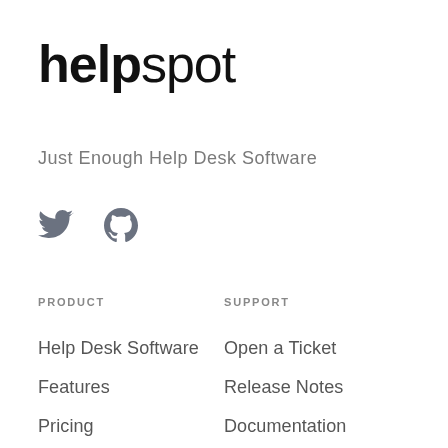helpspot
Just Enough Help Desk Software
[Figure (illustration): Twitter bird icon and GitHub mark icon side by side in dark gray]
PRODUCT
SUPPORT
Help Desk Software
Open a Ticket
Features
Release Notes
Pricing
Documentation
Requirements
Video Training